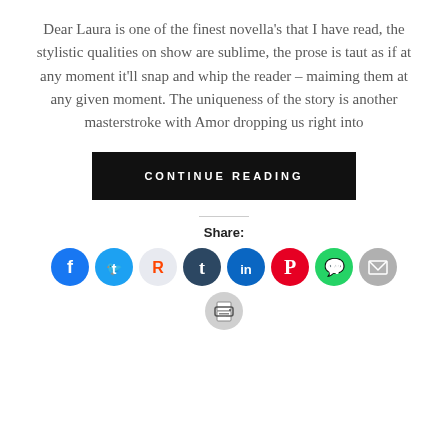Dear Laura is one of the finest novella's that I have read, the stylistic qualities on show are sublime, the prose is taut as if at any moment it'll snap and whip the reader – maiming them at any given moment. The uniqueness of the story is another masterstroke with Amor dropping us right into
CONTINUE READING
Share:
[Figure (infographic): Row of social media share icons: Facebook (blue), Twitter (light blue), Reddit (light grey), Tumblr (dark navy), LinkedIn (dark blue), Pinterest (red), WhatsApp (green), Email (grey), and a printer icon below]